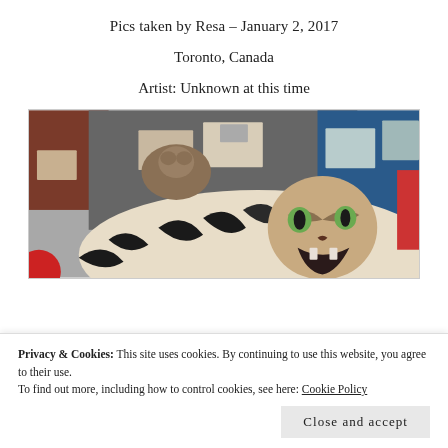Pics taken by Resa – January 2, 2017
Toronto, Canada
Artist: Unknown at this time
[Figure (photo): Street mural on a building in Toronto showing a large painted big cat (tiger/leopard) with open mouth and intense eyes, black and white stripes on its body, with another smaller animal above. Urban building background with windows visible.]
Privacy & Cookies: This site uses cookies. By continuing to use this website, you agree to their use.
To find out more, including how to control cookies, see here: Cookie Policy
Close and accept